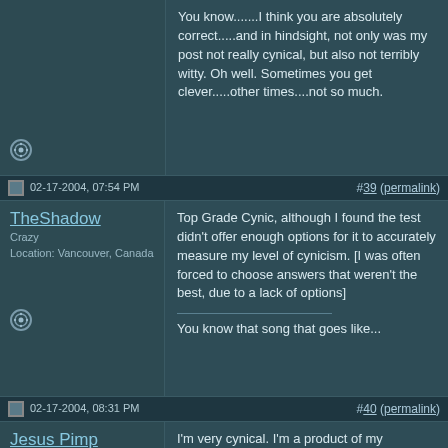You know.......I think you are absolutely correct.....and in hindsight, not only was my post not really cynical, but also not terribly witty. Oh well. Sometimes you get clever.....other times....not so much.
02-17-2004, 07:54 PM
#39 (permalink)
TheShadow
Crazy
Location: Vancouver, Canada
Top Grade Cynic, although I found the test didn't offer enough options for it to accurately measure my level of cynicism. [I was often forced to choose answers that weren't the best, due to a lack of options]
You know that song that goes like...
02-17-2004, 08:31 PM
#40 (permalink)
Jesus Pimp
The Original JizzSmacka
I'm very cynical. I'm a product of my environment that I grew up in seeing all the fucked up shit that happens in the world.